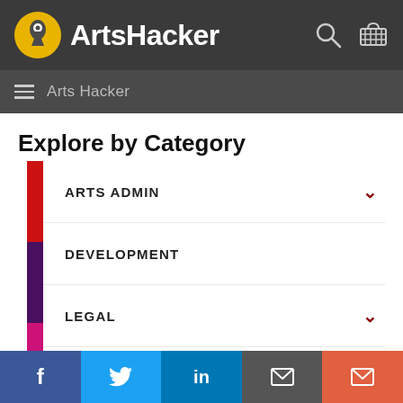ArtsHacker
Arts Hacker
Explore by Category
ARTS ADMIN
DEVELOPMENT
LEGAL
MARKETING
f | Twitter | in | email | email